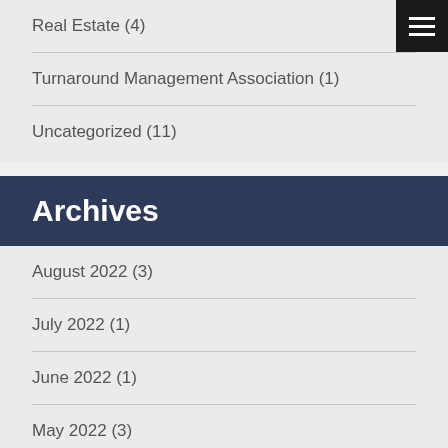Real Estate (4)
Turnaround Management Association (1)
Uncategorized (11)
Archives
August 2022 (3)
July 2022 (1)
June 2022 (1)
May 2022 (3)